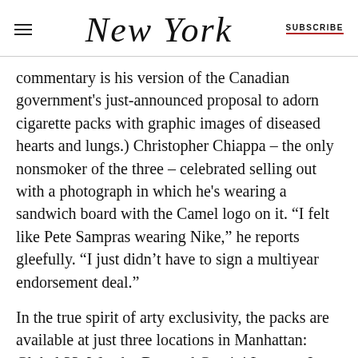New York | SUBSCRIBE
commentary is his version of the Canadian government's just-announced proposal to adorn cigarette packs with graphic images of diseased hearts and lungs.) Christopher Chiappa – the only nonsmoker of the three – celebrated selling out with a photograph in which he's wearing a sandwich board with the Camel logo on it. “I felt like Pete Sampras wearing Nike,” he reports gleefully. “I just didn’t have to sign a multiyear endorsement deal.”
In the true spirit of arty exclusivity, the packs are available at just three locations in Manhattan: Global 33, Wonder Bar, and Gemini Lounge. In the month they’ve been on sale so far, patron preferences have been busily tallied (scores of